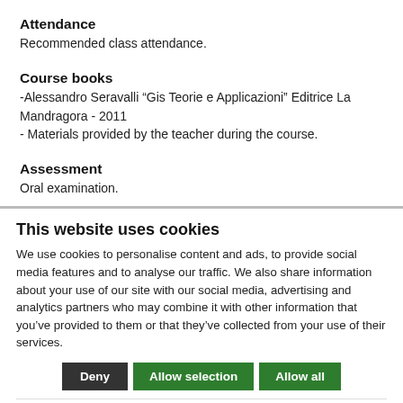Attendance
Recommended class attendance.
Course books
-Alessandro Seravalli “Gis Teorie e Applicazioni” Editrice La Mandragora - 2011
- Materials provided by the teacher during the course.
Assessment
Oral examination.
This website uses cookies
We use cookies to personalise content and ads, to provide social media features and to analyse our traffic. We also share information about your use of our site with our social media, advertising and analytics partners who may combine it with other information that you’ve provided to them or that they’ve collected from your use of their services.
Deny | Allow selection | Allow all
essary | keting | Preferences | Statistics | Show details